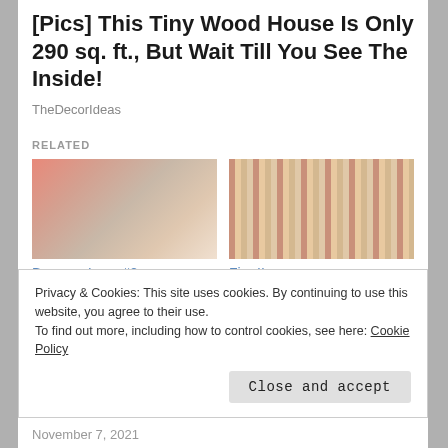[Pics] This Tiny Wood House Is Only 290 sq. ft., But Wait Till You See The Inside!
TheDecorIdeas
RELATED
[Figure (photo): Spool of thread or yarn in coral/salmon colors with white spool in background]
Bronson Lace #2
April 13, 2018
In "8 harness weave"
[Figure (photo): Close-up of woven textile with pink and beige/gold striped pattern]
Fire II
October 3, 2016
In "Handwoven towels"
[Figure (photo): Wood surface or wooden furniture close-up]
Privacy & Cookies: This site uses cookies. By continuing to use this website, you agree to their use.
To find out more, including how to control cookies, see here: Cookie Policy
Close and accept
November 7, 2021